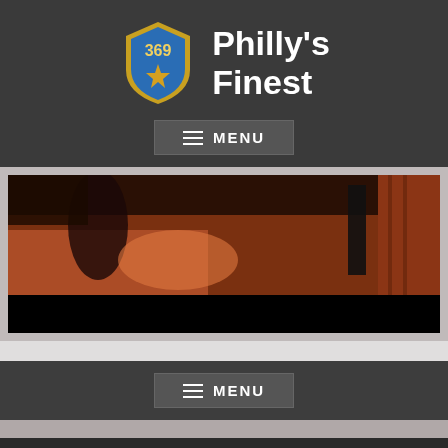[Figure (logo): Philly's Finest 369 badge logo with shield shape, gold star, and blue background with the text Philly's Finest]
MENU
[Figure (screenshot): Dark video frame showing a scene with figures on a wooden floor, dark reddish tones, with black bar at bottom]
MENU
ANGELHOUSE © 2009 - 2020 | HOSTING BY PHILLYFINEST369 SERVER STATS INC. ALL RIGHTS RESERVED | ALL YOUTUBE VIDEOS IS A REGISTERED TRADEMARK OF GOOGLE INC. | THE YOUTUBE CHANNELS AND BLOG FEEDS IS MANAGED BY THE